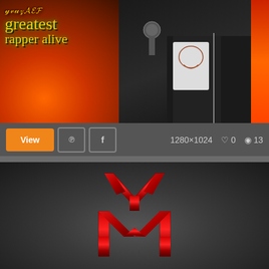[Figure (photo): Music artist wallpaper showing text 'greatest rapper alive' in yellow/green gothic font over fire background, with rapper figure wearing black jacket on right side, holding microphone]
1280x1024 download lil wa...
View
1280×1024   ♡ 0   👁 13
[Figure (logo): Young Money (YM) logo in red metallic style on dark smoky grey background — stylized M with V/Y shape above it in crimson red]